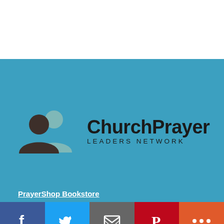[Figure (logo): ChurchPrayer Leaders Network logo with two person silhouettes (dark brown and teal) on a teal background]
PrayerShop Bookstore
[Figure (infographic): Social share bar with Facebook (blue), Twitter (light blue), Email (gray), Pinterest (red), and More (orange) buttons with white icons]